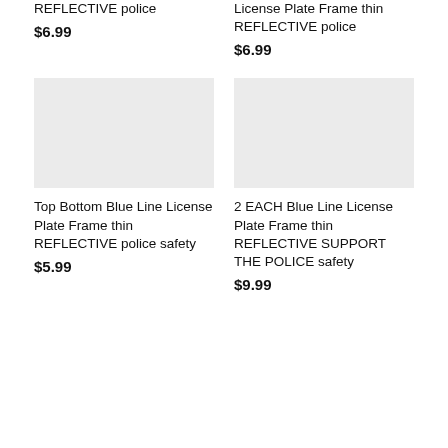REFLECTIVE police
$6.99
License Plate Frame thin REFLECTIVE police
$6.99
[Figure (photo): Product image placeholder - light gray rectangle]
Top Bottom Blue Line License Plate Frame thin REFLECTIVE police safety
$5.99
[Figure (photo): Product image placeholder - light gray rectangle]
2 EACH Blue Line License Plate Frame thin REFLECTIVE SUPPORT THE POLICE safety
$9.99